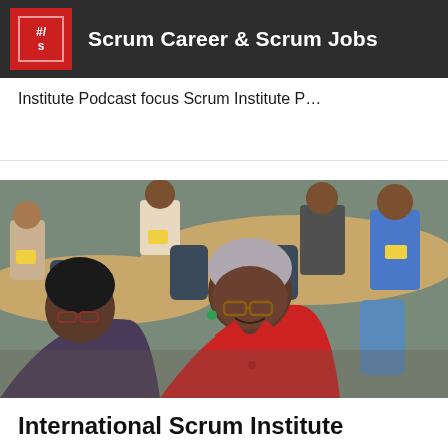Scrum Career & Scrum Jobs
Institute Podcast focus Scrum Institute P…
[Figure (photo): Group of people at a training or conference session. A woman in a red blazer with glasses is prominently in the foreground, smiling. Another woman with glasses is to her left. People are seated around tables in the background.]
International Scrum Institute